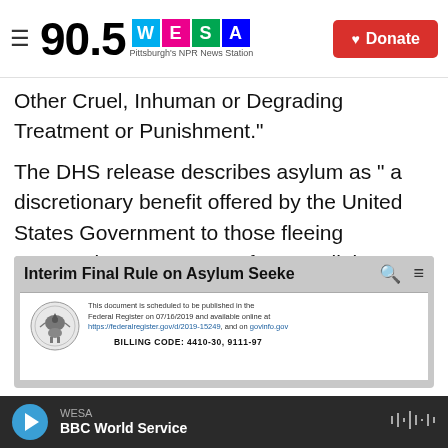90.5 WESA — Pittsburgh's NPR News Station | Donate
Other Cruel, Inhuman or Degrading Treatment or Punishment."
The DHS release describes asylum as " a discretionary benefit offered by the United States Government to those fleeing persecution on account of race, religion, nationality, membership in a particular social group, or political opinion."
[Figure (screenshot): Screenshot of webpage titled 'Interim Final Rule on Asylum Seeke' showing a Federal Register document with a government seal and billing code 4410-30, 9111-97]
WESA — BBC World Service (audio player bar)